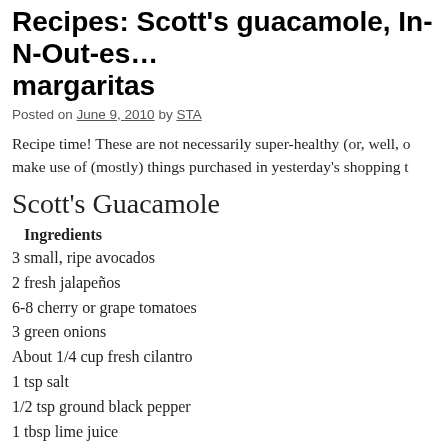Recipes: Scott's guacamole, In-N-Out-esque burgers, margaritas
Posted on June 9, 2010 by STA
Recipe time! These are not necessarily super-healthy (or, well, d… make use of (mostly) things purchased in yesterday's shopping t…
Scott's Guacamole
Ingredients
3 small, ripe avocados
2 fresh jalapeños
6-8 cherry or grape tomatoes
3 green onions
About 1/4 cup fresh cilantro
1 tsp salt
1/2 tsp ground black pepper
1 tbsp lime juice